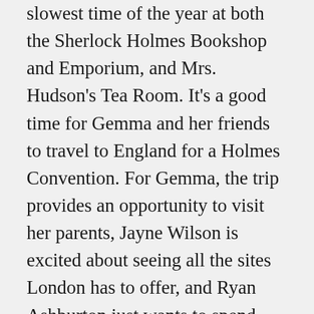slowest time of the year at both the Sherlock Holmes Bookshop and Emporium, and Mrs. Hudson's Tea Room. It's a good time for Gemma and her friends to travel to England for a Holmes Convention. For Gemma, the trip provides an opportunity to visit her parents, Jayne Wilson is excited about seeing all the sites London has to offer, and Ryan Ashburton just wants to spend some time with Gemma. But the trip is immediately derailed when Gemma's father Henry recognizes his brother-in-law Randolph Manning, who disappeared more than thirty years ago on the night he stole a valuable painting from his